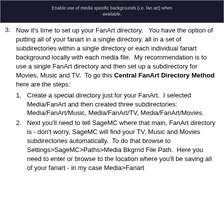[Figure (screenshot): Screenshot showing 'Enable use of media specific backgrounds (i.e. fan art) when available.' text on dark background]
Now it's time to set up your FanArt directory.  You have the option of putting all of your fanart in a single directory, all in a set of subdirectories within a single directory or each individual fanart background locally with each media file.  My recommendation is to use a single FanArt directory and then set up a subdirectory for Movies, Music and TV.  To go this Central FanArt Directory Method here are the steps:
Create a special directory just for your FanArt.  I selected Media/FanArt and then created three subdirectories: Media/FanArt/Music, Media/FanArt/TV, Media/FanArt/Movies.
Next you'll need to tell SageMC where that main, FanArt directory is - don't worry, SageMC will find your TV, Music and Movies subdirectories automatically.  To do that browse to Settings>SageMC>Paths>Media Bkgrnd File Path.  Here you need to enter or browse to the location where you'll be saving all of your fanart - in my case Media>Fanart